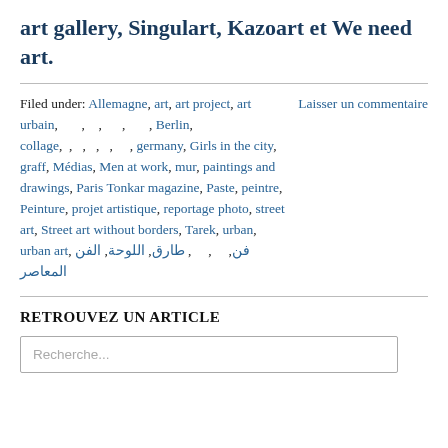art gallery, Singulart, Kazoart et We need art.
Filed under: Allemagne, art, art project, art urbain, , , , , Berlin, collage, , , , , , germany, Girls in the city, graff, Médias, Men at work, mur, paintings and drawings, Paris Tonkar magazine, Paste, peintre, Peinture, projet artistique, reportage photo, street art, Street art without borders, Tarek, urban, urban art, فن, , , طارق, اللوحة, الفن المعاصر		Laisser un commentaire
RETROUVEZ UN ARTICLE
Recherche...